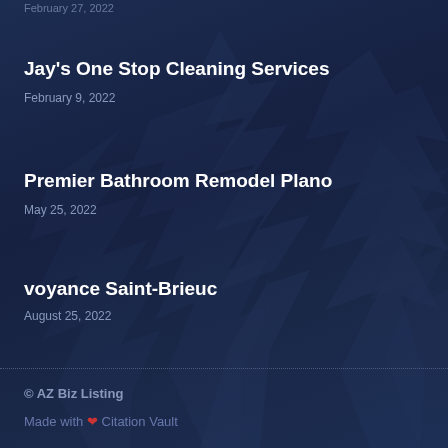Jay's One Stop Cleaning Services
February 9, 2022
Premier Bathroom Remodel Plano
May 25, 2022
voyance Saint-Brieuc
August 25, 2022
© AZ Biz Listing
Made with ❤ Citation Vault